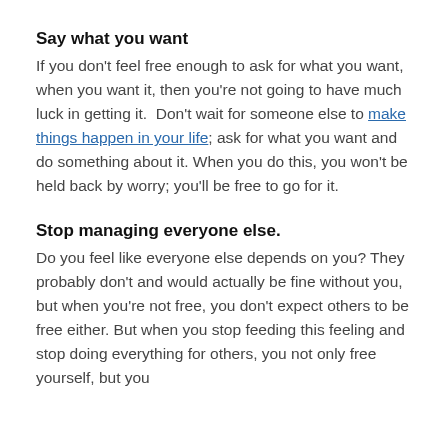Say what you want
If you don't feel free enough to ask for what you want, when you want it, then you're not going to have much luck in getting it.  Don't wait for someone else to make things happen in your life; ask for what you want and do something about it. When you do this, you won't be held back by worry; you'll be free to go for it.
Stop managing everyone else.
Do you feel like everyone else depends on you? They probably don't and would actually be fine without you, but when you're not free, you don't expect others to be free either. But when you stop feeding this feeling and stop doing everything for others, you not only free yourself, but you